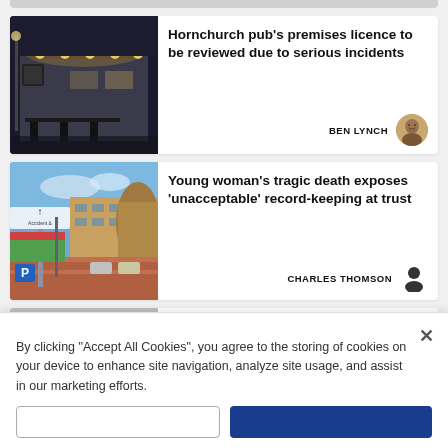[Figure (photo): Top partial card - partial view of previous article card]
[Figure (photo): Night photo of Hornchurch pub exterior with lights]
Hornchurch pub's premises licence to be reviewed due to serious incidents
BEN LYNCH
[Figure (photo): Photo of hospital exterior with wayfinding signpost showing upward arrow]
Young woman's tragic death exposes 'unacceptable' record-keeping at trust
CHARLES THOMSON
[Figure (photo): Bottom partial card with 'We are' text visible]
By clicking "Accept All Cookies", you agree to the storing of cookies on your device to enhance site navigation, analyze site usage, and assist in our marketing efforts.